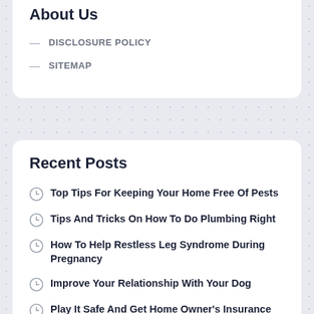About Us
DISCLOSURE POLICY
SITEMAP
Recent Posts
Top Tips For Keeping Your Home Free Of Pests
Tips And Tricks On How To Do Plumbing Right
How To Help Restless Leg Syndrome During Pregnancy
Improve Your Relationship With Your Dog
Play It Safe And Get Home Owner's Insurance